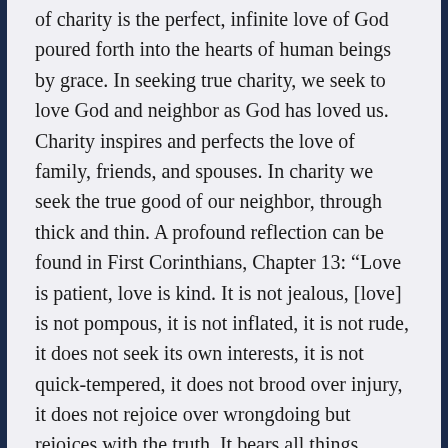of charity is the perfect, infinite love of God poured forth into the hearts of human beings by grace. In seeking true charity, we seek to love God and neighbor as God has loved us. Charity inspires and perfects the love of family, friends, and spouses. In charity we seek the true good of our neighbor, through thick and thin. A profound reflection can be found in First Corinthians, Chapter 13: “Love is patient, love is kind. It is not jealous, [love] is not pompous, it is not inflated, it is not rude, it does not seek its own interests, it is not quick-tempered, it does not brood over injury, it does not rejoice over wrongdoing but rejoices with the truth. It bears all things, believes all things, hopes all things, endures all things. Love never fails.”
True charity is more than the emotion of love...